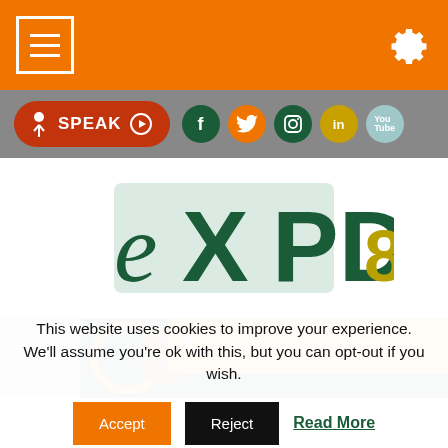Navigation bar with hamburger menu and settings gear icon
[Figure (screenshot): Grey toolbar with orange SPEAK button and social media icons: Facebook, Twitter, Instagram, LinkedIn, YouTube]
[Figure (logo): eXPD8 company logo in dark green on white background]
[Figure (photo): Orange contact bar reading 'Get in touch: 0117 403 0405' overlaid on a photo of a person]
This website uses cookies to improve your experience. We'll assume you're ok with this, but you can opt-out if you wish.
Accept | Reject | Read More